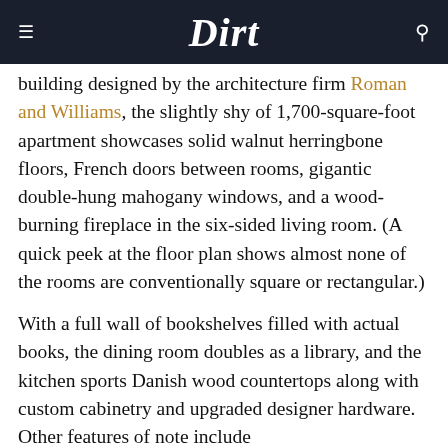Dirt
building designed by the architecture firm Roman and Williams, the slightly shy of 1,700-square-foot apartment showcases solid walnut herringbone floors, French doors between rooms, gigantic double-hung mahogany windows, and a wood-burning fireplace in the six-sided living room. (A quick peek at the floor plan shows almost none of the rooms are conventionally square or rectangular.)
With a full wall of bookshelves filled with actual books, the dining room doubles as a library, and the kitchen sports Danish wood countertops along with custom cabinetry and upgraded designer hardware. Other features of note include